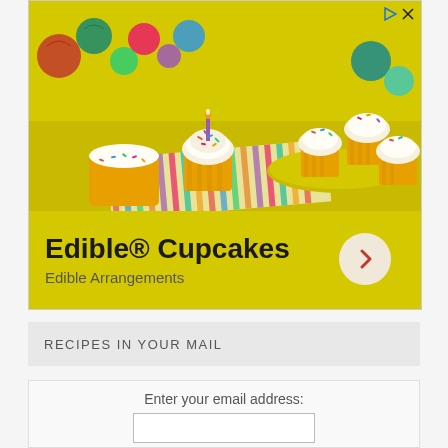[Figure (photo): Advertisement for Edible® Cupcakes by Edible Arrangements. Yellow background with colorful sprinkle cupcakes, decorative paper balls, a birthday candle, and striped napkins. Text reads 'Edible® Cupcakes' with a circular arrow button and 'Edible Arrangements' subtitle. Ad controls (triangle/play and X icons) visible top right.]
RECIPES IN YOUR MAIL
Enter your email address: